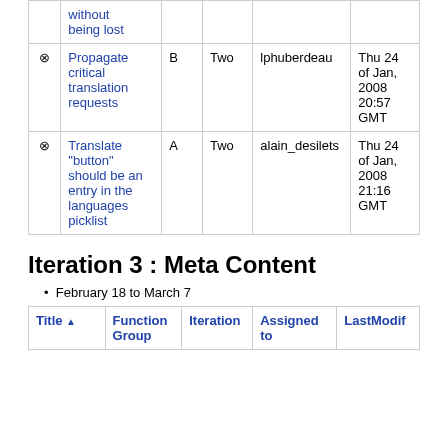|  | Title | Function Group | Iteration | Assigned to | LastModif |
| --- | --- | --- | --- | --- | --- |
| ⊛ | without being lost |  |  |  |  |
| ⊛ | Propagate critical translation requests | B | Two | lphuberdeau | Thu 24 of Jan, 2008 20:57 GMT |
| ⊛ | Translate "button" should be an entry in the languages picklist | A | Two | alain_desilets | Thu 24 of Jan, 2008 21:16 GMT |
Iteration 3 : Meta Content
February 18 to March 7
| Title | Function Group | Iteration | Assigned to | LastModif |
| --- | --- | --- | --- | --- |